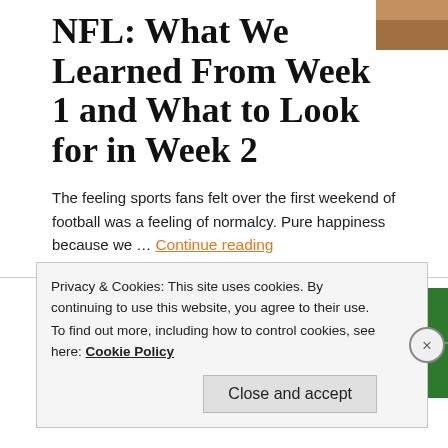[Figure (photo): Small thumbnail photo partially visible in top-right corner, showing what appears to be a football-related image with orange/brown tones]
NFL: What We Learned From Week 1 and What to Look for in Week 2
The feeling sports fans felt over the first weekend of football was a feeling of normalcy. Pure happiness because we ... Continue reading
NFL, SPORTS
[Figure (photo): NFL logo on green football field background — red/blue shield with NFL text]
NFL: Football is Back
Privacy & Cookies: This site uses cookies. By continuing to use this website, you agree to their use.
To find out more, including how to control cookies, see here: Cookie Policy
Close and accept